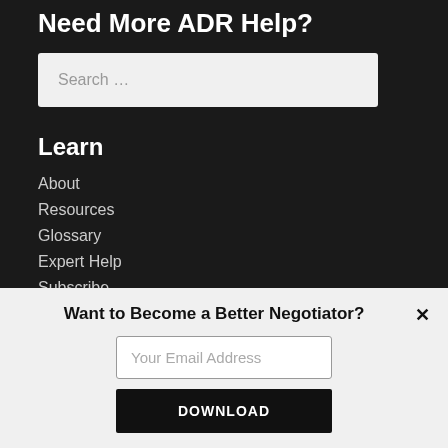Need More ADR Help?
Search …
Learn
About
Resources
Glossary
Expert Help
Subscribe
Contribute
Want to Become a Better Negotiator?
Your Email Address
DOWNLOAD